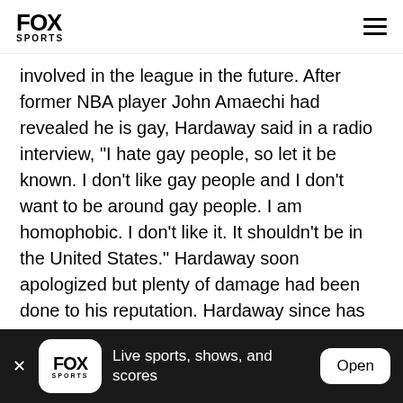FOX SPORTS
involved in the league in the future. After former NBA player John Amaechi had revealed he is gay, Hardaway said in a radio interview, "I hate gay people, so let it be known. I don't like gay people and I don't want to be around gay people. I am homophobic. I don't like it. It shouldn't be in the United States." Hardaway soon apologized but plenty of damage had been done to his reputation. Hardaway since has gone to great lengths to make up for what he said. He attended
FOX SPORTS  Live sports, shows, and scores  Open